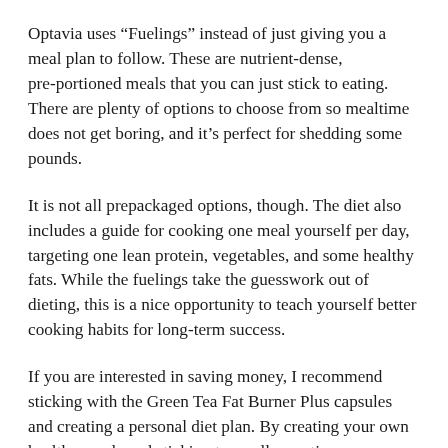Optavia uses “Fuelings” instead of just giving you a meal plan to follow. These are nutrient-dense, pre-portioned meals that you can just stick to eating. There are plenty of options to choose from so mealtime does not get boring, and it’s perfect for shedding some pounds.
It is not all prepackaged options, though. The diet also includes a guide for cooking one meal yourself per day, targeting one lean protein, vegetables, and some healthy fats. While the fuelings take the guesswork out of dieting, this is a nice opportunity to teach yourself better cooking habits for long-term success.
If you are interested in saving money, I recommend sticking with the Green Tea Fat Burner Plus capsules and creating a personal diet plan. By creating your own healthy meals and sticking to smaller portions, you can achieve similar results while saving some significant cash.